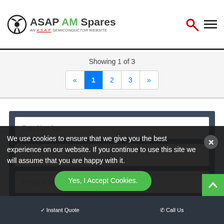[Figure (logo): ASAP AM Spares logo with radioactive symbol icon, green and black text, subtitle 'AN A.S.A.P. SEMICONDUCTOR WEBSITE']
Showing 1 of 3
Pagination: « 1 2 3 »
Part Number
Qty.
Email Address
GET A QUOTE
We use cookies to ensure that we give you the best experience on our website. If you continue to use this site we will assume that you are happy with it.
Yes, I Accept Cookies.
✓Instant Quote
✆Call Us